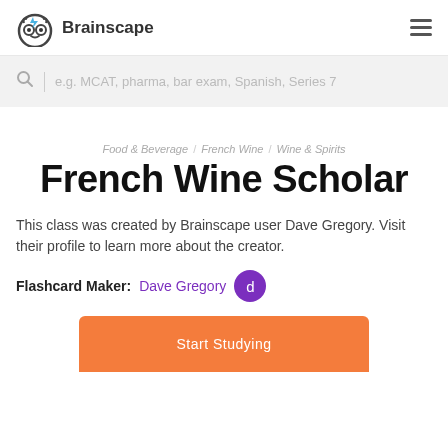Brainscape
e.g. MCAT, pharma, bar exam, Spanish, Series 7
Food & Beverage / French Wine / Wine & Spirits
French Wine Scholar
This class was created by Brainscape user Dave Gregory. Visit their profile to learn more about the creator.
Flashcard Maker: Dave Gregory
Start Studying